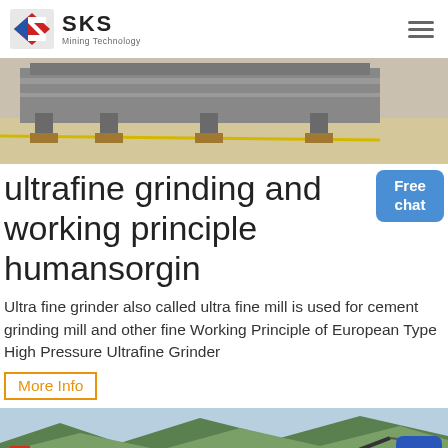SKS Mining Technology
[Figure (photo): Industrial machinery/equipment on a factory floor with metal frames and wooden supports]
ultrafine grinding and working principle humansorgin
Ultra fine grinder also called ultra fine mill is used for cement grinding mill and other fine Working Principle of European Type High Pressure Ultrafine Grinder
More Info
[Figure (photo): Landscape with mountains and industrial equipment in foreground]